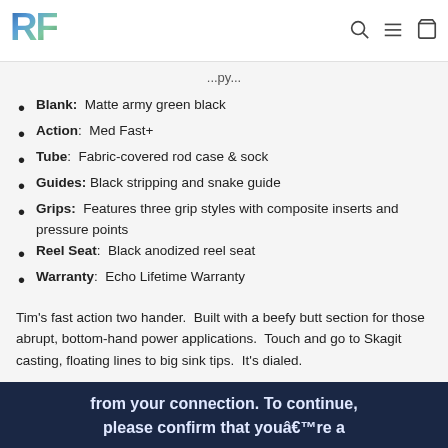RF [logo]
...py...
Blank: Matte army green black
Action: Med Fast+
Tube: Fabric-covered rod case & sock
Guides: Black stripping and snake guide
Grips: Features three grip styles with composite inserts and pressure points
Reel Seat: Black anodized reel seat
Warranty: Echo Lifetime Warranty
Tim's fast action two hander. Built with a beefy butt section for those abrupt, bottom-hand power applications. Touch and go to Skagit casting, floating lines to big sink tips. It's dialed.
from your connection. To continue, please confirm that youâ€™re a